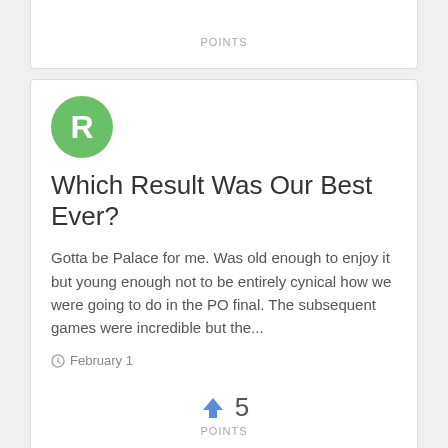POINTS
[Figure (illustration): Green circle avatar with white letter R]
Which Result Was Our Best Ever?
Gotta be Palace for me. Was old enough to enjoy it but young enough not to be entirely cynical how we were going to do in the PO final. The subsequent games were incredible but the...
February 1
5
POINTS
[Figure (illustration): Small panda logo/illustration in black and white]
Random Photo. Mansfield 1987